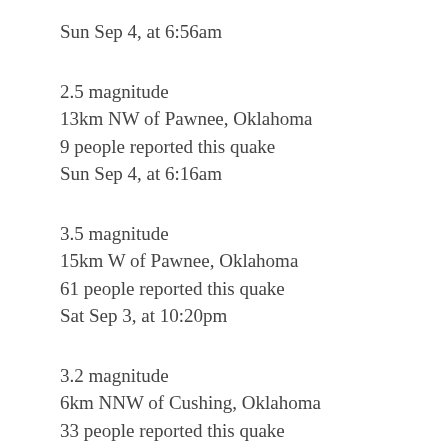Sun Sep 4, at 6:56am
2.5 magnitude
13km NW of Pawnee, Oklahoma
9 people reported this quake
Sun Sep 4, at 6:16am
3.5 magnitude
15km W of Pawnee, Oklahoma
61 people reported this quake
Sat Sep 3, at 10:20pm
3.2 magnitude
6km NNW of Cushing, Oklahoma
33 people reported this quake
Sat Sep 3, at 9:55pm
3.1 magnitude
13km NW of Pawnee, Oklahoma